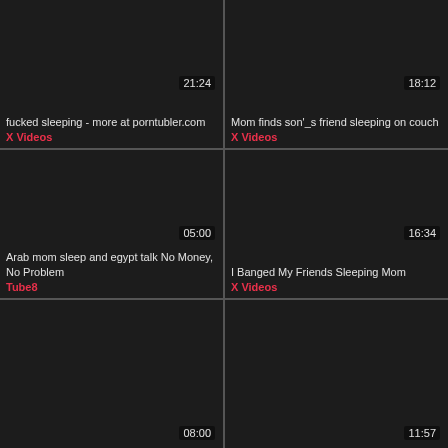[Figure (screenshot): Video thumbnail - dark, duration 21:24, title: fucked sleeping - more at porntubler.com, source: X Videos]
[Figure (screenshot): Video thumbnail - dark, duration 18:12, title: Mom finds son'_s friend sleeping on couch, source: X Videos]
[Figure (screenshot): Video thumbnail - dark, duration 05:00, title: Arab mom sleep and egypt talk No Money, No Problem, source: Tube8]
[Figure (screenshot): Video thumbnail - dark, duration 16:34, title: I Banged My Friends Sleeping Mom, source: X Videos]
[Figure (screenshot): Video thumbnail - dark, duration 08:00]
[Figure (screenshot): Video thumbnail - dark, duration 11:57]